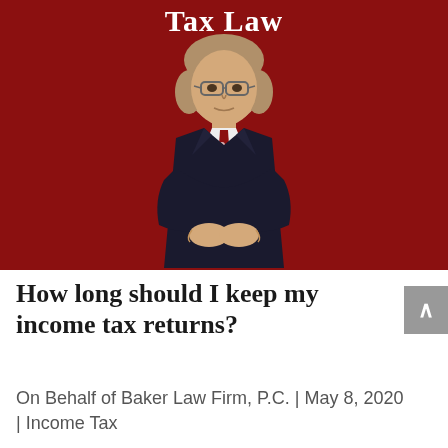[Figure (photo): Dark red/maroon background with white text 'Tax Law' at top and a professional photo of an older man with glasses wearing a dark suit and red tie, seated with hands folded.]
How long should I keep my income tax returns?
On Behalf of Baker Law Firm, P.C. | May 8, 2020 | Income Tax